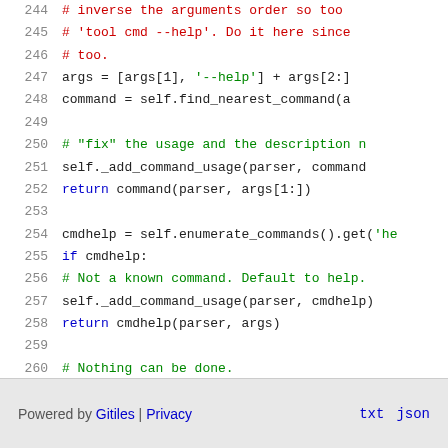Code snippet lines 244-261 showing Python source code
Powered by Gitiles | Privacy   txt  json